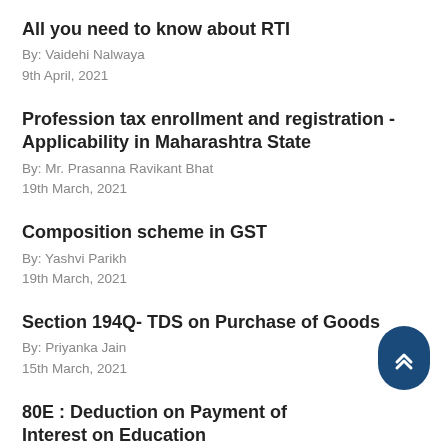All you need to know about RTI
By: Vaidehi Nalwaya
9th April, 2021
Profession tax enrollment and registration - Applicability in Maharashtra State
By: Mr. Prasanna Ravikant Bhat
19th March, 2021
Composition scheme in GST
By: Yashvi Parikh
19th March, 2021
Section 194Q- TDS on Purchase of Goods
By: Priyanka Jain
15th March, 2021
80E : Deduction on Payment of Interest on Education loan